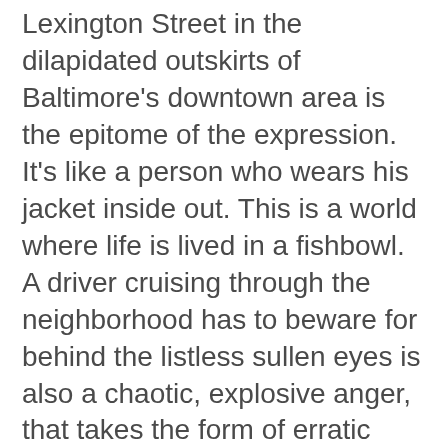Lexington Street in the dilapidated outskirts of Baltimore's downtown area is the epitome of the expression. It's like a person who wears his jacket inside out. This is a world where life is lived in a fishbowl. A driver cruising through the neighborhood has to beware for behind the listless sullen eyes is also a chaotic, explosive anger, that takes the form of erratic eruptions which are impervious to traffic. The 15 story Emerson Bromo-Selzer Tower, built in l911 and fashioned after Florence's Palazzo Vecchio, stands out as a curiosity and the sprawling Maryland Institute College of Art Campus has gobbled up much of the adjacent neighborhood; only a mile away luxury hotels like the Marriott and the Four Seasons carve up the expensive waterfront like Mafia dons divvying up the drug trade. But Lexington Street is the kind of neighborhood immortalized on the HBO series, The Wire. It manifests an entrenched poverty which a city like New York now